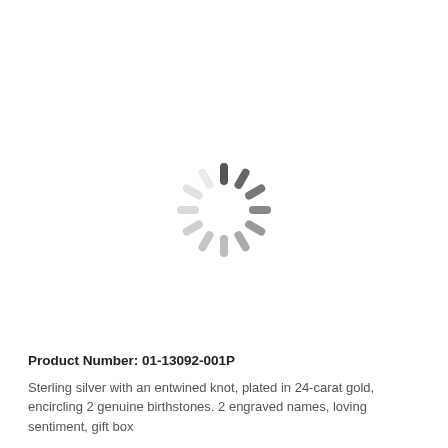[Figure (other): A loading spinner icon (circular arrangement of rounded dash marks in varying shades of gray, indicating a loading state)]
Product Number: 01-13092-001P
Sterling silver with an entwined knot, plated in 24-carat gold, encircling 2 genuine birthstones. 2 engraved names, loving sentiment, gift box